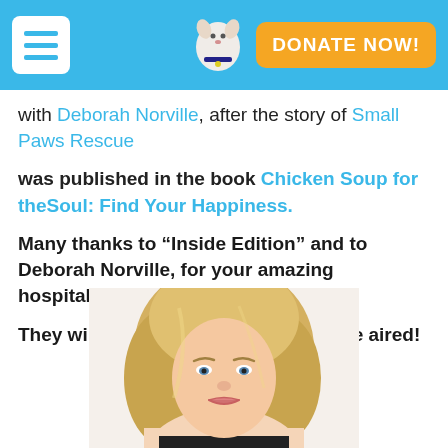DONATE NOW!
with Deborah Norville, after the story of Small Paws Rescue
was published in the book Chicken Soup for theSoul: Find Your Happiness.
Many thanks to “Inside Edition” and to Deborah Norville, for your amazing hospitality!
They will let us know when this will be aired!
[Figure (photo): Portrait photo of a blonde woman (Deborah Norville) from shoulders up, partially visible at bottom of page]